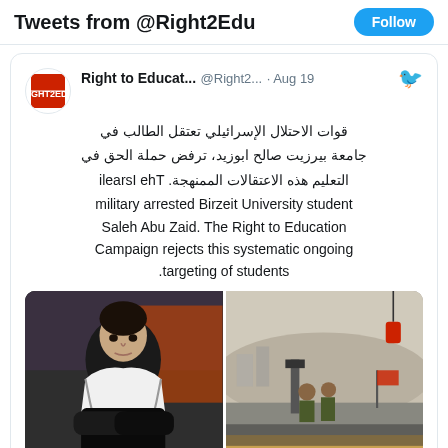Tweets from @Right2Edu
Right to Educat... @Right2... · Aug 19
قوات الاحتلال الإسرائيلي تعتقل الطالب في جامعة بيرزيت صالح ابوزيد، ترفض حملة الحق في التعليم هذه الاعتقالات الممنهجة. The Israeli military arrested Birzeit University student Saleh Abu Zaid. The Right to Education Campaign rejects this systematic ongoing targeting of students.
[Figure (photo): Two photos: left shows a young man with crossed arms wearing a keffiyeh scarf; right shows soldiers at what appears to be a checkpoint viewed from inside a car]
♡ 3